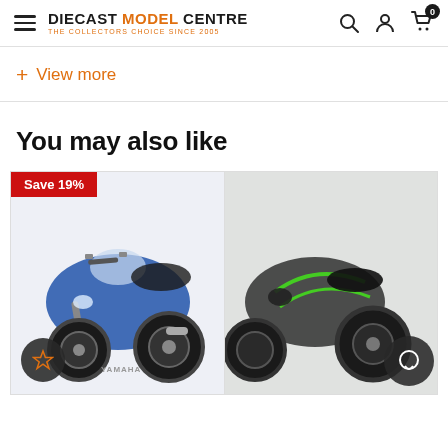DIECAST MODEL CENTRE - THE COLLECTORS CHOICE SINCE 2005
+ View more
You may also like
[Figure (photo): Blue Yamaha sport motorcycle diecast model with Save 19% badge and wishlist star button]
[Figure (photo): Black and green motorcycle diecast model with chat/support button, partially visible]